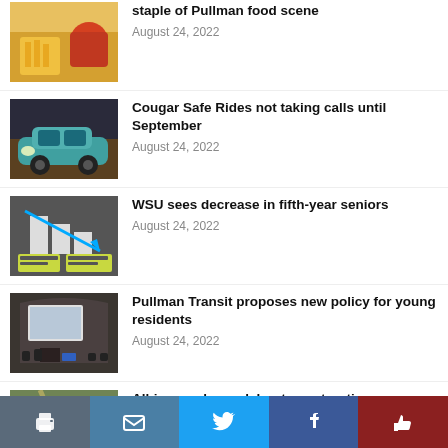[Figure (photo): Food photo showing fries and dipping sauce — partially visible at top]
staple of Pullman food scene
August 24, 2022
[Figure (photo): Illustration of a teal car at night with people inside]
Cougar Safe Rides not taking calls until September
August 24, 2022
[Figure (photo): Infographic showing bar chart with decreasing arrow]
WSU sees decrease in fifth-year seniors
August 24, 2022
[Figure (photo): Meeting room with projector screen and seated people]
Pullman Transit proposes new policy for young residents
August 24, 2022
[Figure (photo): Aerial view of road construction area]
Albion road roundabout construction